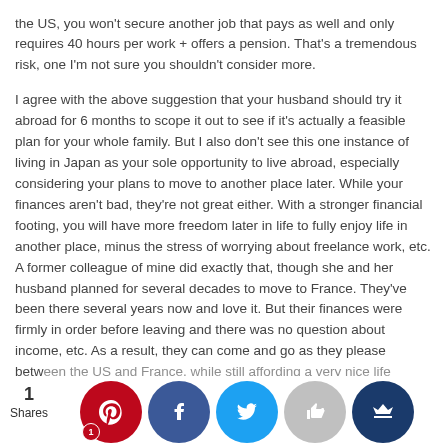the US, you won't secure another job that pays as well and only requires 40 hours per work + offers a pension. That's a tremendous risk, one I'm not sure you shouldn't consider more.
I agree with the above suggestion that your husband should try it abroad for 6 months to scope it out to see if it's actually a feasible plan for your whole family. But I also don't see this one instance of living in Japan as your sole opportunity to live abroad, especially considering your plans to move to another place later. While your finances aren't bad, they're not great either. With a stronger financial footing, you will have more freedom later in life to fully enjoy life in another place, minus the stress of worrying about freelance work, etc. A former colleague of mine did exactly that, though she and her husband planned for several decades to move to France. They've been there several years now and love it. But their finances were firmly in order before leaving and there was no question about income, etc. As a result, they can come and go as they please between the US and France, while still affording a very nice life...
[Figure (infographic): Social sharing bar with 1 Shares count and icons for Pinterest (with badge showing 1), Facebook, Twitter, Like/thumbs-up, and Crown/bookmark buttons]